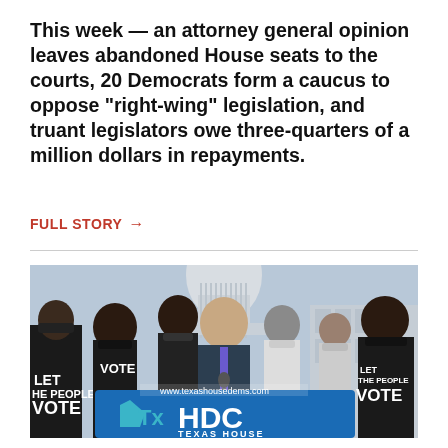This week — an attorney general opinion leaves abandoned House seats to the courts, 20 Democrats form a caucus to oppose “right-wing” legislation, and truant legislators owe three-quarters of a million dollars in repayments.
FULL STORY →
[Figure (photo): Photo of a man in a suit speaking at a podium with a TxHDC (Texas House Democratic Caucus) sign reading 'Texas House' and 'www.texashousedems.com'. People surrounding him wear black masks and shirts reading 'LET THE PEOPLE VOTE'. The US Capitol dome is visible in the background.]